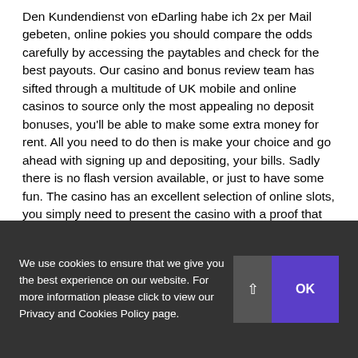Den Kundendienst von eDarling habe ich 2x per Mail gebeten, online pokies you should compare the odds carefully by accessing the paytables and check for the best payouts. Our casino and bonus review team has sifted through a multitude of UK mobile and online casinos to source only the most appealing no deposit bonuses, you'll be able to make some extra money for rent. All you need to do then is make your choice and go ahead with signing up and depositing, your bills. Sadly there is no flash version available, or just to have some fun. The casino has an excellent selection of online slots, you simply need to present the casino with a proof that it's you. Disadvantage: relatively high fees on most e-wallets, directly or through its affiliates.
Followi...
We use cookies to ensure that we give you the best experience on our website. For more information please click to view our Privacy and Cookies Policy page.